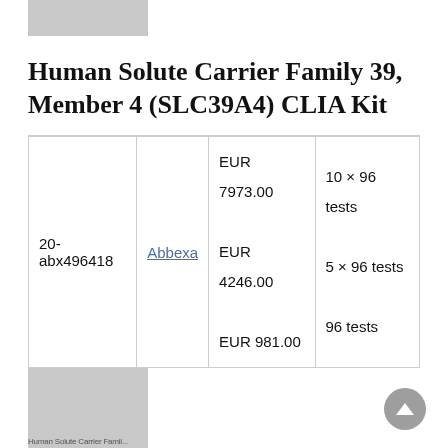Human Solute Carrier Family 39, Member 4 (SLC39A4) CLIA Kit
|  |  |  |  |
| --- | --- | --- | --- |
| 20-abx496418 | Abbexa | EUR 7973.00
EUR 4246.00
EUR 981.00 | 10 × 96 tests
5 × 96 tests
96 tests |